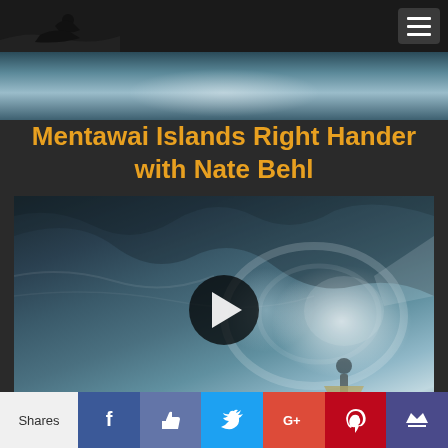Navigation bar with logo and hamburger menu
[Figure (photo): Ocean wave banner strip at top of page]
Mentawai Islands Right Hander with Nate Behl
[Figure (screenshot): Video thumbnail showing a large barreling wave at Mentawai Islands with a surfer, overlaid with a circular play button]
Shares
[Figure (infographic): Social sharing bar with Facebook, Like, Twitter, Google+, Pinterest, and crown/bookmark buttons]